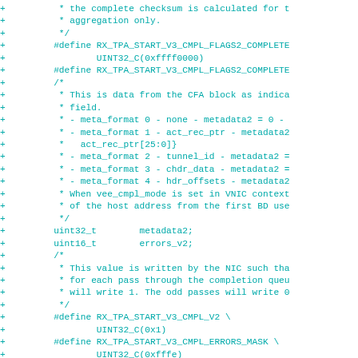[Figure (other): Source code diff showing C header file additions with #define macros and struct fields for RX_TPA_START_V3_CMPL network driver completion descriptor, including metadata2, errors_v2 fields and related constants.]